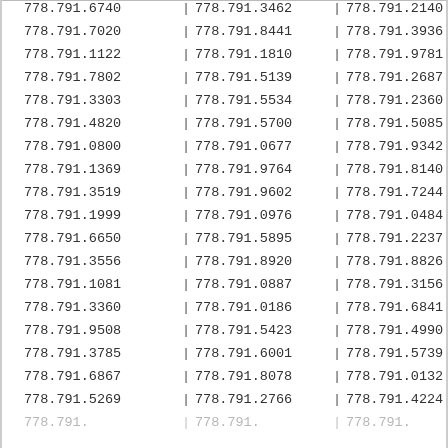| Col1 | Sep | Col2 | Sep | Col3 | Sep |
| --- | --- | --- | --- | --- | --- |
| 778.791.6740 | | | 778.791.3462 | | | 778.791.2140 | | |
| 778.791.7020 | | | 778.791.8441 | | | 778.791.3936 | | |
| 778.791.1122 | | | 778.791.1810 | | | 778.791.9781 | | |
| 778.791.7802 | | | 778.791.5139 | | | 778.791.2687 | | |
| 778.791.3303 | | | 778.791.5534 | | | 778.791.2360 | | |
| 778.791.4820 | | | 778.791.5700 | | | 778.791.5085 | | |
| 778.791.0800 | | | 778.791.0677 | | | 778.791.9342 | | |
| 778.791.1369 | | | 778.791.9764 | | | 778.791.8140 | | |
| 778.791.3519 | | | 778.791.9602 | | | 778.791.7244 | | |
| 778.791.1999 | | | 778.791.0976 | | | 778.791.0484 | | |
| 778.791.6650 | | | 778.791.5895 | | | 778.791.2237 | | |
| 778.791.3556 | | | 778.791.8920 | | | 778.791.8826 | | |
| 778.791.1081 | | | 778.791.0887 | | | 778.791.3156 | | |
| 778.791.3360 | | | 778.791.0186 | | | 778.791.6841 | | |
| 778.791.9508 | | | 778.791.5423 | | | 778.791.4990 | | |
| 778.791.3785 | | | 778.791.6001 | | | 778.791.5739 | | |
| 778.791.6867 | | | 778.791.8078 | | | 778.791.0132 | | |
| 778.791.5269 | | | 778.791.2766 | | | 778.791.4224 | | |
| 778.791.??? | | | 778.791.??? | | | 778.791.??? | | |